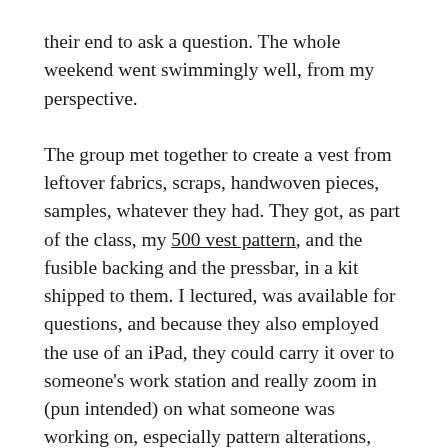their end to ask a question. The whole weekend went swimmingly well, from my perspective.
The group met together to create a vest from leftover fabrics, scraps, handwoven pieces, samples, whatever they had. They got, as part of the class, my 500 vest pattern, and the fusible backing and the pressbar, in a kit shipped to them. I lectured, was available for questions, and because they also employed the use of an iPad, they could carry it over to someone's work station and really zoom in (pun intended) on what someone was working on, especially pattern alterations, and I could direct the student how to do the alteration I wanted them to do, with multiple people assisting. I could clearly see what they were doing, and the only glitch was because I was looking at my screen, through someone else's rear camera from their screen, at a person sitting backwards, facing the camera, my